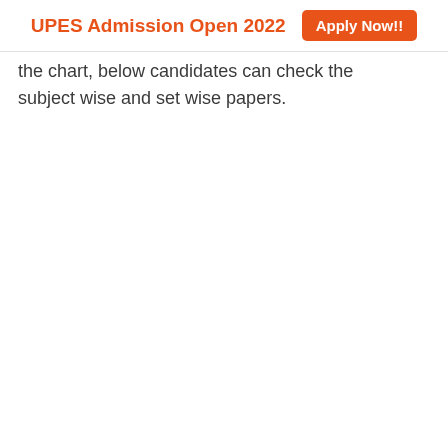UPES Admission Open 2022  Apply Now!!
the chart, below candidates can check the subject wise and set wise papers.